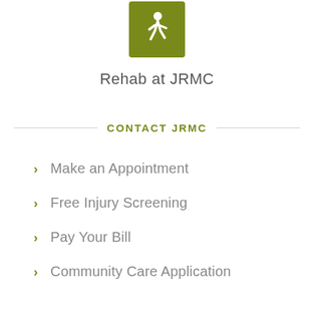[Figure (illustration): Olive/khaki green square icon with a white walking person pictogram]
Rehab at JRMC
CONTACT JRMC
Make an Appointment
Free Injury Screening
Pay Your Bill
Community Care Application